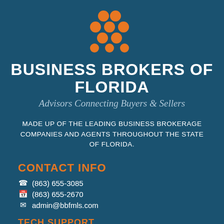[Figure (logo): Business Brokers of Florida orange dot-grid logo mark]
BUSINESS BROKERS OF FLORIDA
Advisors Connecting Buyers & Sellers
MADE UP OF THE LEADING BUSINESS BROKERAGE COMPANIES AND AGENTS THROUGHOUT THE STATE OF FLORIDA.
CONTACT INFO
(863) 655-3085
(863) 655-2670
admin@bbfmls.com
TECH SUPPORT